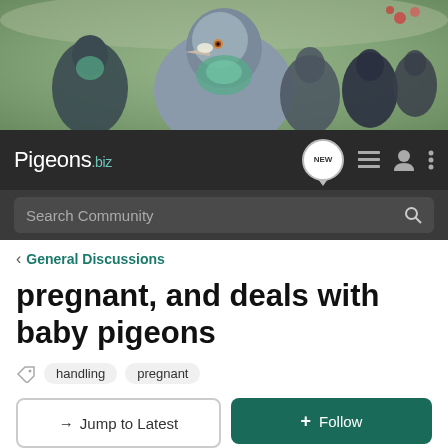[Figure (photo): Header photo of multiple pigeons, including close-up of gray pigeon with iridescent green neck feathers and another dark pigeon on the left, with more pigeons in background]
Pigeons.biz — navigation bar with NEW chat icon, list icon, user icon, and more options icon; Search Community search bar
< General Discussions
pregnant, and deals with baby pigeons
handling  pregnant
→ Jump to Latest   + Follow
1 – 20 of 26 Posts   1 of 2 ▶